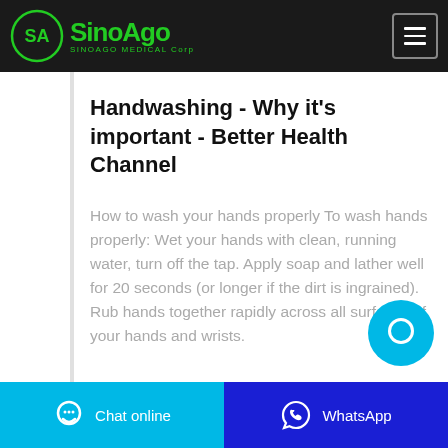[Figure (logo): SinoAgo Medical Corp logo with green circular emblem and green text on black header bar]
Handwashing - Why it's important - Better Health Channel
How to wash your hands properly To wash hands properly: Wet your hands with clean, running water, turn off the tap. Apply soap and lather well for 20 seconds (or longer if the dirt is ingrained). Rub hands together rapidly across all surfaces of your hands and wrists.
Chat online | WhatsApp